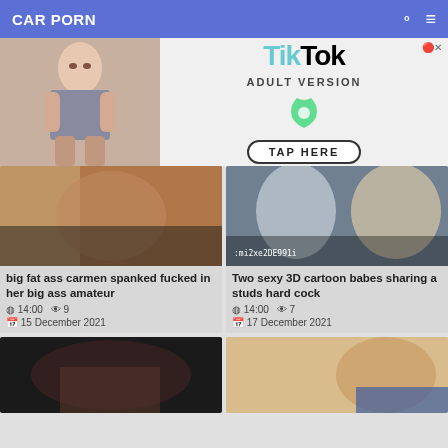CAR PORN
[Figure (illustration): TikTok Adult Version advertisement banner with animated figure on left and TikTok logo with TAP HERE button on right]
[Figure (photo): Video thumbnail: big fat ass carmen spanked fucked in her big ass amateur]
big fat ass carmen spanked fucked in her big ass amateur
⏱ 14:00  👁 9
📅 15 December 2021
[Figure (photo): Video thumbnail: Two sexy 3D cartoon babes sharing a studs hard cock]
Two sexy 3D cartoon babes sharing a studs hard cock
⏱ 14:00  👁 7
📅 17 December 2021
[Figure (photo): Video thumbnail bottom left - partial view]
[Figure (photo): Video thumbnail bottom right - partial view of woman]